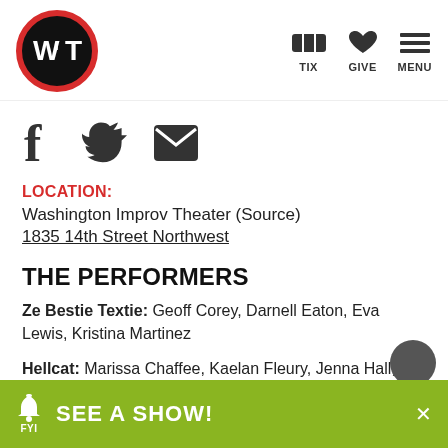WIT logo and navigation: TIX, GIVE, MENU
[Figure (logo): Washington Improv Theater circular logo with WIT text on black background with red border]
[Figure (infographic): Social media icons: Facebook, Twitter, Email]
LOCATION:
Washington Improv Theater (Source)
1835 14th Street Northwest
THE PERFORMERS
Ze Bestie Textie: Geoff Corey, Darnell Eaton, Eva Lewis, Kristina Martinez
Hellcat: Marissa Chaffee, Kaelan Fleury, Jenna Hall,
[Figure (infographic): Green bottom banner with bell/FYI icon, SEE A SHOW! text, and close X button]